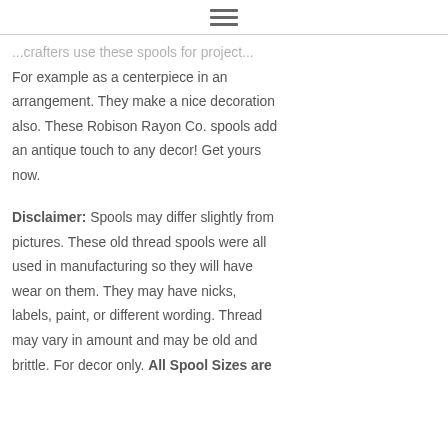☰
...crafters use these spools for projects. For example as a centerpiece in an arrangement. They make a nice decoration also. These Robison Rayon Co. spools add an antique touch to any decor! Get yours now.
Disclaimer: Spools may differ slightly from pictures. These old thread spools were all used in manufacturing so they will have wear on them. They may have nicks, labels, paint, or different wording. Thread may vary in amount and may be old and brittle. For decor only. All Spool Sizes are...